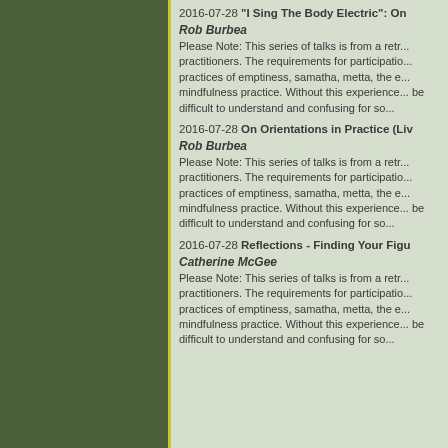2016-07-28 "I Sing The Body Electric": On...
Rob Burbea
Please Note: This series of talks is from a retr... practitioners. The requirements for participatio... practices of emptiness, samatha, metta, the e... mindfulness practice. Without this experience... be difficult to understand and confusing for so...
2016-07-28 On Orientations in Practice (Liv...
Rob Burbea
Please Note: This series of talks is from a retr... practitioners. The requirements for participatio... practices of emptiness, samatha, metta, the e... mindfulness practice. Without this experience... be difficult to understand and confusing for so...
2016-07-28 Reflections - Finding Your Figu...
Catherine McGee
Please Note: This series of talks is from a retr... practitioners. The requirements for participatio... practices of emptiness, samatha, metta, the e... mindfulness practice. Without this experience... be difficult to understand and confusing for so...